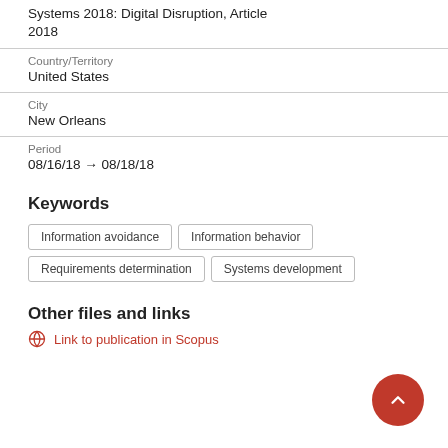Systems 2018: Digital Disruption, Article 2018
Country/Territory
United States
City
New Orleans
Period
08/16/18 → 08/18/18
Keywords
Information avoidance
Information behavior
Requirements determination
Systems development
Other files and links
Link to publication in Scopus